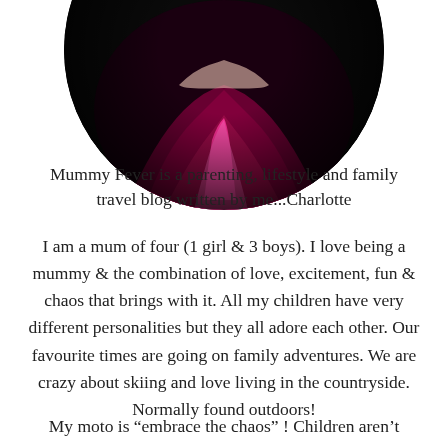[Figure (photo): Circular cropped photo of a woman in a pink and dark magenta flowing dress against a dark background, showing the lower portion of the circle at the top of the page.]
Mummy Fever is a parenting, lifestyle and family travel blog written by me...Charlotte
I am a mum of four (1 girl & 3 boys). I love being a mummy & the combination of love, excitement, fun & chaos that brings with it. All my children have very different personalities but they all adore each other. Our favourite times are going on family adventures. We are crazy about skiing and love living in the countryside. Normally found outdoors!
My moto is “embrace the chaos” ! Children aren’t